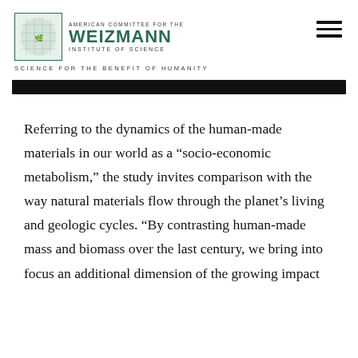[Figure (logo): American Committee for the Weizmann Institute of Science logo with green emblem and text]
SCIENCE FOR THE BENEFIT OF HUMANITY
[Figure (other): Black horizontal banner bar]
Referring to the dynamics of the human-made materials in our world as a “socio-economic metabolism,” the study invites comparison with the way natural materials flow through the planet’s living and geologic cycles. “By contrasting human-made mass and biomass over the last century, we bring into focus an additional dimension of the growing impact